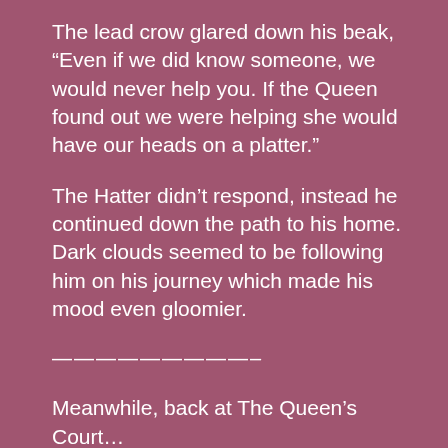The lead crow glared down his beak, “Even if we did know someone, we would never help you. If the Queen found out we were helping she would have our heads on a platter.”
The Hatter didn’t respond, instead he continued down the path to his home. Dark clouds seemed to be following him on his journey which made his mood even gloomier.
—————————–
Meanwhile, back at The Queen’s Court…
“Two days and I will finally be rid of that looney Hatter.” The Queen said to her entire council.
The Cheshire Cat vanished from his position next to the Queen and reappeared in front of her. “Pardon